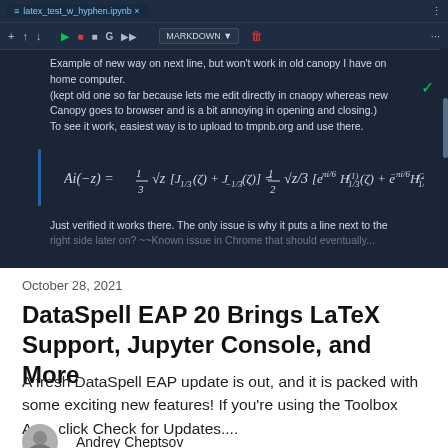[Figure (screenshot): Jupyter/Canopy notebook screenshot with dark theme showing markdown cell with text about LaTeX and a rendered Airy function formula. Toolbar with MARKDOWN dropdown visible.]
October 28, 2021
DataSpell EAP 20 Brings LaTeX Support, Jupyter Console, and More
A fresh DataSpell EAP update is out, and it is packed with some exciting new features! If you're using the Toolbox App, click Check for Updates....
Andrey Cheptsov